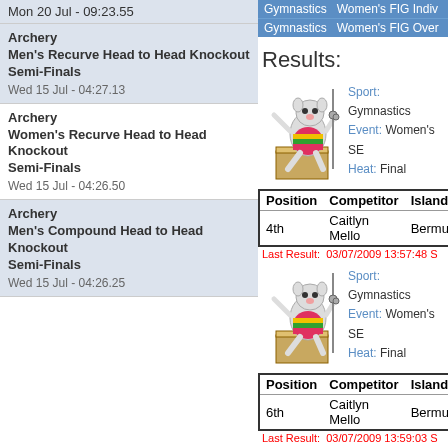Mon 20 Jul - 09:23.55
Archery
Men's Recurve Head to Head Knockout Semi-Finals
Wed 15 Jul - 04:27.13
Archery
Women's Recurve Head to Head Knockout Semi-Finals
Wed 15 Jul - 04:26.50
Archery
Men's Compound Head to Head Knockout Semi-Finals
Wed 15 Jul - 04:26.25
| Gymnastics | Women's FIG Indiv... |
| --- | --- |
| Gymnastics | Women's FIG Over... |
Results:
[Figure (illustration): Gymnastics mascot cartoon vaulting over a pommel horse]
Sport: Gymnastics
Event: Women's SE...
Heat: Final
| Position | Competitor | Island |
| --- | --- | --- |
| 4th | Caitlyn Mello | Bermu... |
Last Result: 03/07/2009 13:57:48 S...
[Figure (illustration): Gymnastics mascot cartoon vaulting over a pommel horse]
Sport: Gymnastics
Event: Women's SE...
Heat: Final
| Position | Competitor | Island |
| --- | --- | --- |
| 6th | Caitlyn Mello | Bermu... |
Last Result: 03/07/2009 13:59:03 S...
[Figure (illustration): Gymnastics mascot cartoon vaulting over a pommel horse]
Sport: Gymnastics